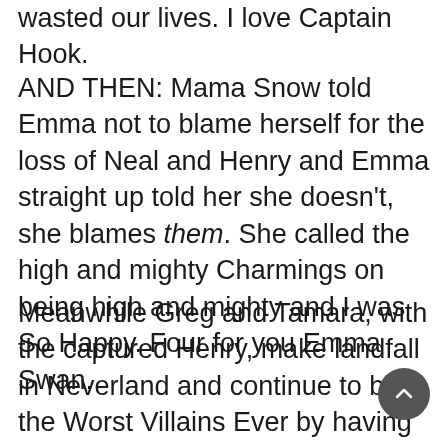wasted our lives. I love Captain Hook.
AND THEN: Mama Snow told Emma not to blame herself for the loss of Neal and Henry and Emma straight up told her she doesn't, she blames them. She called the high and mighty Charmings on being high and mighty and I was So Happy. Four for you Emma Swan.
Meanwhile Greg and Tamara, with the captured Henry, make landfall in Neverland and continue to be the Worst Villains Ever by having faithfully followed a literal band of half-mad feral children blindly. Greg gets his shadow